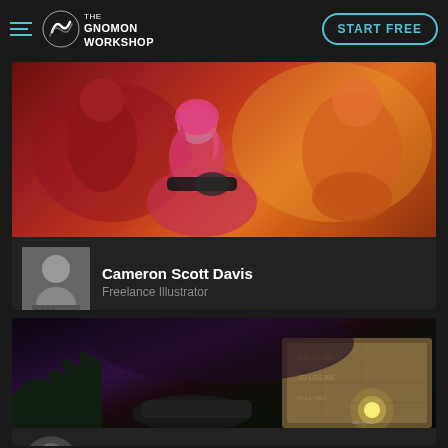The Gnomon Workshop | START FREE
[Figure (illustration): Digital illustration of fantasy characters: a pink-haired female character with dark clothing and a guitar, surrounded by orange/red demonic figures]
[Figure (photo): Black and white photo of a person]
Cameron Scott Davis
Freelance Illustrator
[Figure (illustration): Dark atmospheric digital painting of a post-apocalyptic jungle scene with ruins, a vehicle, and a glowing light source]
[Figure (photo): Black and white circular portrait photo]
Dean Deakyne